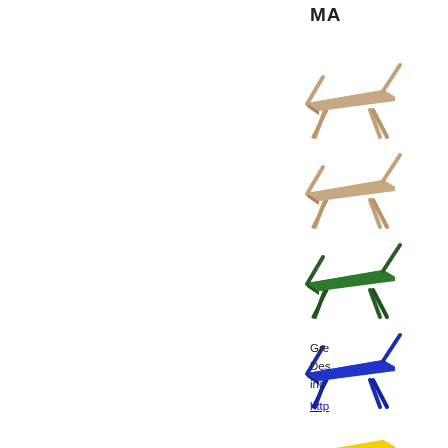MA
[Figure (photo): Seven folding chairs shown in a vertical column on the right side of the page, each a different color: tan/beige, brown/tan, dark green, blue, yellow, natural wood/tan, and dark brown.]
Gre
Des
inc
http